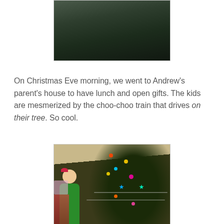[Figure (photo): Top portion of a photo showing dark green clothing or fabric, partially cropped]
On Christmas Eve morning, we went to Andrew's parent's house to have lunch and open gifts. The kids are mesmerized by the choo-choo train that drives on their tree. So cool.
[Figure (photo): A toddler in a green shirt with a holiday hair bow sits in front of a decorated Christmas tree with colorful lights, ornaments, and wrapped gifts in the background]